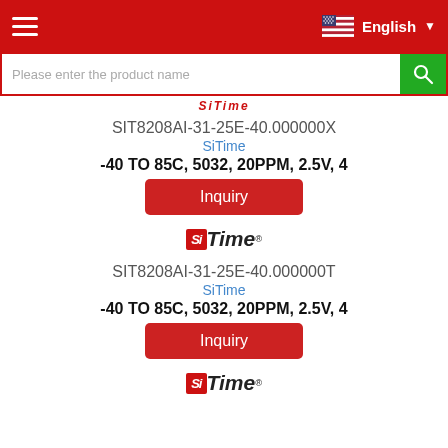Navigation bar with hamburger menu, US flag, English language selector
Please enter the product name
SiTime (partial logo text)
SIT8208AI-31-25E-40.000000X
SiTime
-40 TO 85C, 5032, 20PPM, 2.5V, 4
Inquiry
[Figure (logo): SiTime logo with red Si box and italic Time text]
SIT8208AI-31-25E-40.000000T
SiTime
-40 TO 85C, 5032, 20PPM, 2.5V, 4
Inquiry
[Figure (logo): SiTime logo with red Si box and italic Time text]